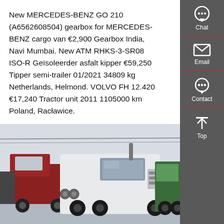New MERCEDES-BENZ GO 210 (A6562608504) gearbox for MERCEDES-BENZ cargo van €2,900 Gearbox India, Navi Mumbai. New ATM RHKS-3-SR08 ISO-R Geïsoleerder asfalt kipper €59,250 Tipper semi-trailer 01/2021 34809 kg Netherlands, Helmond. VOLVO FH 12.420 €17,240 Tractor unit 2011 1105000 km Poland, Racławice.
[Figure (other): Get a Quote red button]
[Figure (photo): Photo of multiple trucks including white semi-trucks in a yard or parking area]
[Figure (infographic): Dark grey sidebar with Chat, Email, Contact, and Top navigation icons]